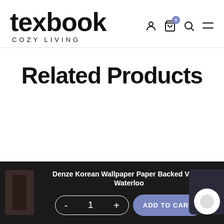texbook COZY LIVING
Related Products
Denze Korean Wallpaper Paper Backed Vinyl - Waterloo
- 1 +  ADD TO CART